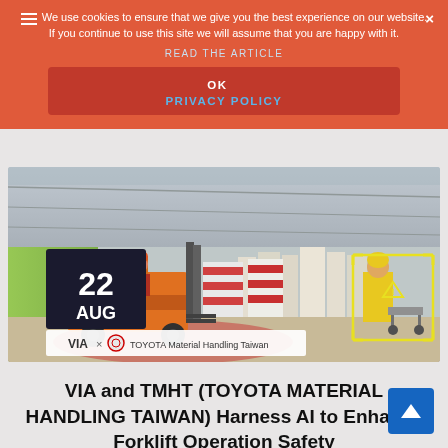We use cookies to ensure that we give you the best experience on our website. If you continue to use this site we will assume that you are happy with it.
READ THE ARTICLE
OK  PRIVACY POLICY
[Figure (photo): Warehouse scene with forklifts and workers. Date badge showing 22 AUG. VIA x TOYOTA Material Handling Taiwan logo overlay. AI detection bounding box shown around a worker in yellow vest.]
VIA and TMHT (TOYOTA MATERIAL HANDLING TAIWAN) Harness AI to Enhance Forklift Operation Safety